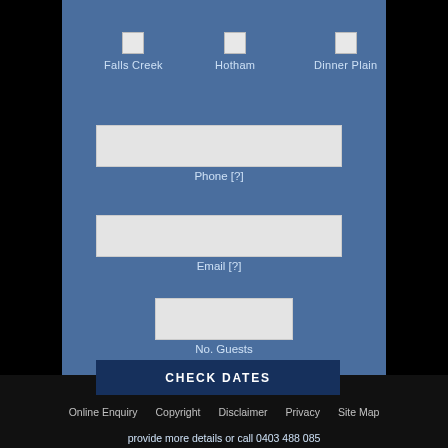Falls Creek
Hotham
Dinner Plain
Phone [?]
Email [?]
No. Guests
CHECK DATES
provide more details or call 0403 488 085
Online Enquiry  Copyright  Disclaimer  Privacy  Site Map